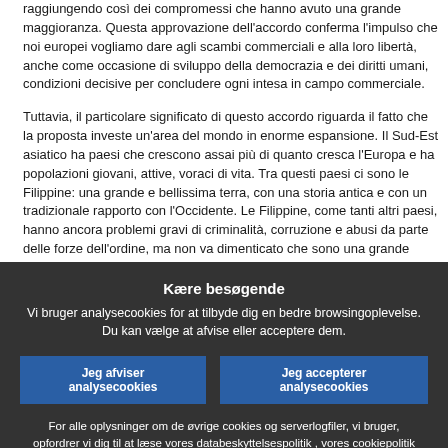raggiungendo così dei compromessi che hanno avuto una grande maggioranza. Questa approvazione dell'accordo conferma l'impulso che noi europei vogliamo dare agli scambi commerciali e alla loro libertà, anche come occasione di sviluppo della democrazia e dei diritti umani, condizioni decisive per concludere ogni intesa in campo commerciale.

Tuttavia, il particolare significato di questo accordo riguarda il fatto che la proposta investe un'area del mondo in enorme espansione. Il Sud-Est asiatico ha paesi che crescono assai più di quanto cresca l'Europa e ha popolazioni giovani, attive, voraci di vita. Tra questi paesi ci sono le Filippine: una grande e bellissima terra, con una storia antica e con un tradizionale rapporto con l'Occidente. Le Filippine, come tanti altri paesi, hanno ancora problemi gravi di criminalità, corruzione e abusi da parte delle forze dell'ordine, ma non va dimenticato che sono una grande democrazia, con una Costituzione che difende i principi fondamentali di libertà e di rispetto delle persone.
Kære besøgende
Vi bruger analysecookies for at tilbyde dig en bedre browsingoplevelse. Du kan vælge at afvise eller acceptere dem.
Jeg afviser analysecookies
Jeg accepterer analysecookies
For alle oplysninger om de øvrige cookies og serverlogfiler, vi bruger, opfordrer vi dig til at læse vores databeskyttelsespolitik , vores cookiepolitik og vores cookieoversigt.